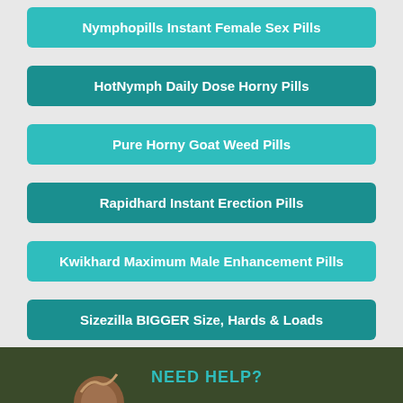Nymphopills Instant Female Sex Pills
HotNymph Daily Dose Horny Pills
Pure Horny Goat Weed Pills
Rapidhard Instant Erection Pills
Kwikhard Maximum Male Enhancement Pills
Sizezilla BIGGER Size, Hards & Loads
Sir Maximus HardOn Pills
Fast Erect Long Lasting Erection Pill
Thunderhard Stronger Hards Explosive Cums
NEED HELP?